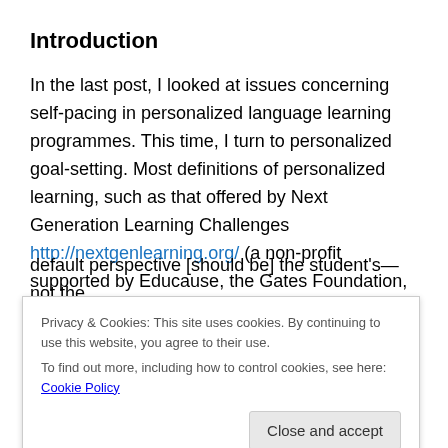Introduction
In the last post, I looked at issues concerning self-pacing in personalized language learning programmes. This time, I turn to personalized goal-setting. Most definitions of personalized learning, such as that offered by Next Generation Learning Challenges http://nextgenlearning.org/ (a non-profit supported by Educause, the Gates Foundation, the Broad Foundation, the Hewlett Foundation, among others), argue that ‘the default perspective [should be] the student’s—not the
Privacy & Cookies: This site uses cookies. By continuing to use this website, you agree to their use.
To find out more, including how to control cookies, see here: Cookie Policy
the United States National Education Technology Plan